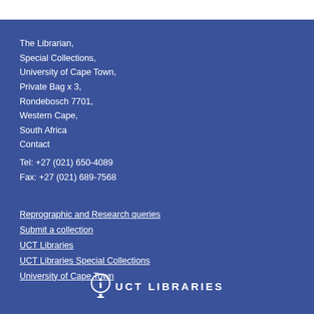The Librarian,
Special Collections,
University of Cape Town,
Private Bag x 3,
Rondebosch 7701,
Western Cape,
South Africa
Contact
Tel: +27 (021) 650-4089
Fax: +27 (021) 689-7568
Reprographic and Research queries
Submit a collection
UCT Libraries
UCT Libraries Special Collections
University of Cape Town
[Figure (logo): UCT Libraries logo with circular i icon and text UCT LIBRARIES]